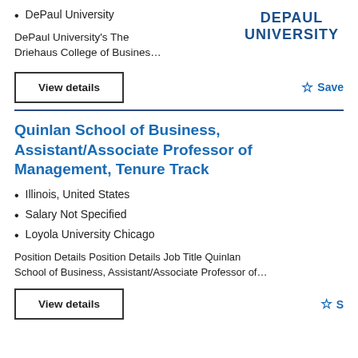DePaul University
DePaul University's The Driehaus College of Busines…
View details
Save
Quinlan School of Business, Assistant/Associate Professor of Management, Tenure Track
Illinois, United States
Salary Not Specified
Loyola University Chicago
Position Details Position Details Job Title Quinlan School of Business, Assistant/Associate Professor of…
View details
Save